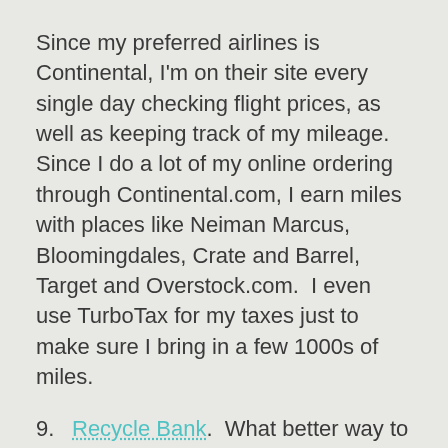Since my preferred airlines is Continental, I'm on their site every single day checking flight prices, as well as keeping track of my mileage.  Since I do a lot of my online ordering through Continental.com, I earn miles with places like Neiman Marcus, Bloomingdales, Crate and Barrel, Target and Overstock.com.  I even use TurboTax for my taxes just to make sure I bring in a few 1000s of miles.
9.  Recycle Bank.  What better way to recycle than to be rewarded for doing a good deed?  Recycle Bank allows you to earn points to use towards coupons and prizes when you recycle.
They have a lot of sponsors lined up to encourage recycling.  From Ziploc to Aveeno to Macy's...there are numerous ways they encourage you to recycle and